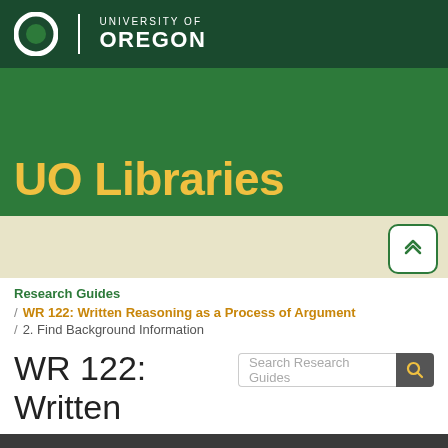[Figure (logo): University of Oregon logo with green O and text 'UNIVERSITY OF OREGON']
UO Libraries
Research Guides
/ WR 122: Written Reasoning as a Process of Argument
/ 2. Find Background Information
WR 122: Written Reasoning as a Process of Argument
College Composition II